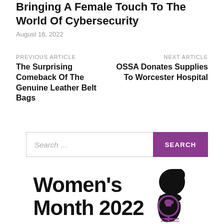Bringing A Female Touch To The World Of Cybersecurity
August 16, 2022
PREVIOUS ARTICLE
The Surprising Comeback Of The Genuine Leather Belt Bags
NEXT ARTICLE
OSSA Donates Supplies To Worcester Hospital
[Figure (screenshot): Search bar with text 'Search...' and a purple 'SEARCH' button]
[Figure (logo): Women's Month 2022 logo with silhouette of African woman and feminist symbol in purple]